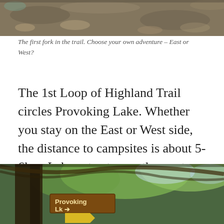[Figure (photo): Top portion of a trail fork image showing a dirt path and fallen leaves, partially cropped]
The first fork in the trail. Choose your own adventure – East or West?
The 1st Loop of Highland Trail circles Provoking Lake. Whether you stay on the East or West side, the distance to campsites is about 5-6km. I chose to stay on the west side for the first night, which is the more popular route because it leads into the longer 35km loop.
[Figure (photo): Bottom photo showing a wooden trail sign reading 'Provoking Lk' with trees and forest in the background]